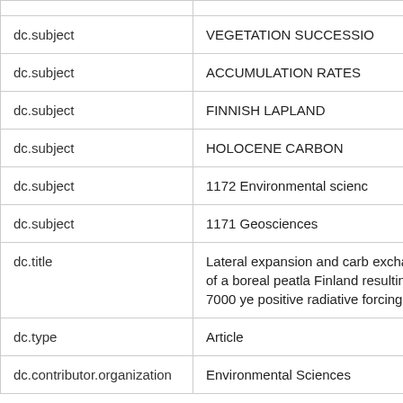|  |  |
| dc.subject | VEGETATION SUCCESSION |
| dc.subject | ACCUMULATION RATES |
| dc.subject | FINNISH LAPLAND |
| dc.subject | HOLOCENE CARBON |
| dc.subject | 1172 Environmental science |
| dc.subject | 1171 Geosciences |
| dc.title | Lateral expansion and carb exchange of a boreal peatla Finland resulting in 7000 ye positive radiative forcing |
| dc.type | Article |
| dc.contributor.organization | Environmental Sciences |